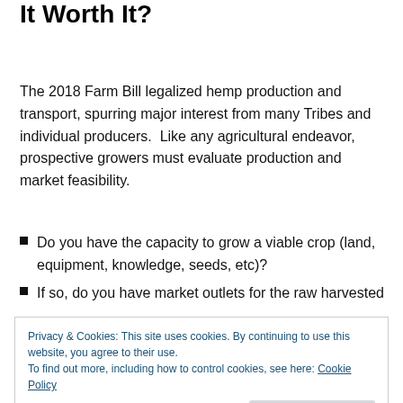It Worth It?
The 2018 Farm Bill legalized hemp production and transport, spurring major interest from many Tribes and individual producers.  Like any agricultural endeavor, prospective growers must evaluate production and market feasibility.
Do you have the capacity to grow a viable crop (land, equipment, knowledge, seeds, etc)?
If so, do you have market outlets for the raw harvested
Privacy & Cookies: This site uses cookies. By continuing to use this website, you agree to their use.
To find out more, including how to control cookies, see here: Cookie Policy
knowledge gaps.  The following study completed by the